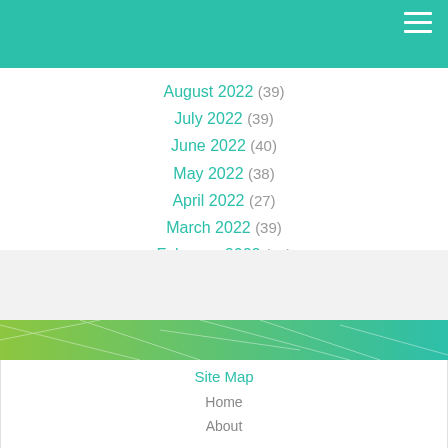August 2022 (39)
July 2022 (39)
June 2022 (40)
May 2022 (38)
April 2022 (27)
March 2022 (39)
February 2022 (37)
January 2022 (38)
December 2021 (21)
Site Map
Home
About